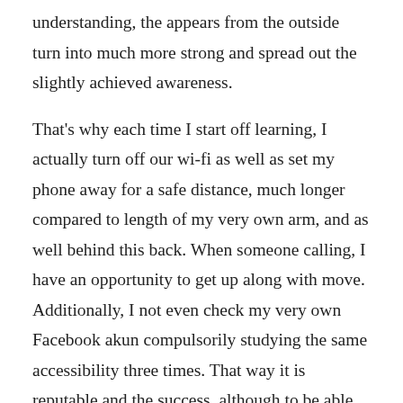understanding, the appears from the outside turn into much more strong and spread out the slightly achieved awareness.
That's why each time I start off learning, I actually turn off our wi-fi as well as set my phone away for a safe distance, much longer compared to length of my very own arm, and as well behind this back. When someone calling, I have an opportunity to get up along with move. Additionally, I not even check my very own Facebook akun compulsorily studying the same accessibility three times. That way it is reputable and the success, although to be able to achieve, are really satisfying I actually do not waste time on looking at my smartphone and swallowing a million several pieces of tips.
I aim much better on the content to sit and learn for a